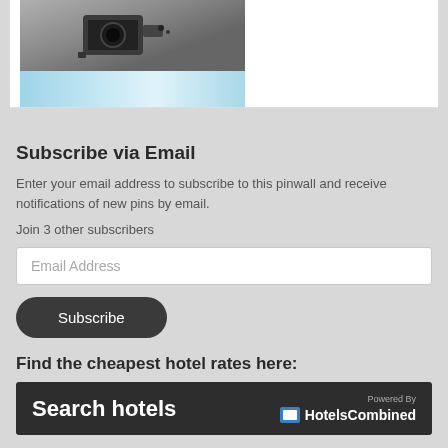[Figure (photo): Partial view of a product image with dark object on top and a light blue gradient bar below, shown in a white card at the top of the page.]
Subscribe via Email
Enter your email address to subscribe to this pinwall and receive notifications of new pins by email.
Join 3 other subscribers
Email Address
Subscribe
Find the cheapest hotel rates here:
Search hotels
Powered By
HotelsCombined